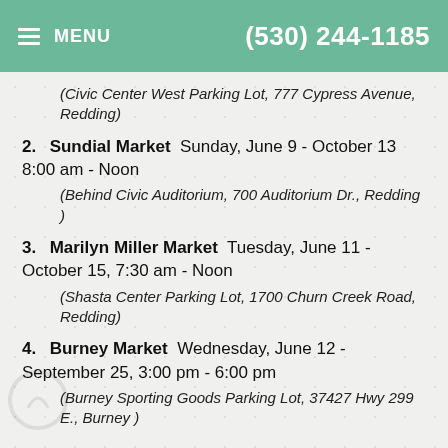MENU  (530) 244-1185
(Civic Center West Parking Lot, 777 Cypress Avenue, Redding)
2.  Sundial Market  Sunday, June 9 - October 13 8:00 am - Noon
(Behind Civic Auditorium, 700 Auditorium Dr., Redding )
3.  Marilyn Miller Market  Tuesday, June 11 - October 15, 7:30 am - Noon
(Shasta Center Parking Lot, 1700 Churn Creek Road, Redding)
4.  Burney Market  Wednesday, June 12 - September 25, 3:00 pm - 6:00 pm
(Burney Sporting Goods Parking Lot, 37427 Hwy 299 E., Burney )